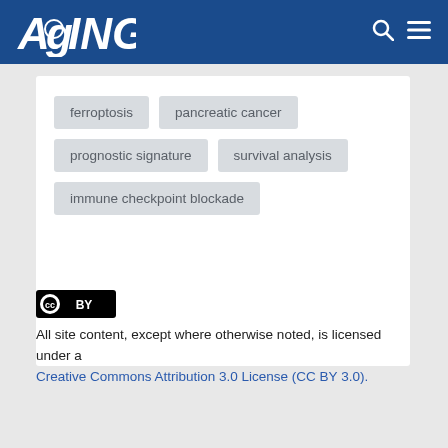AGING
ferroptosis
pancreatic cancer
prognostic signature
survival analysis
immune checkpoint blockade
All site content, except where otherwise noted, is licensed under a Creative Commons Attribution 3.0 License (CC BY 3.0).